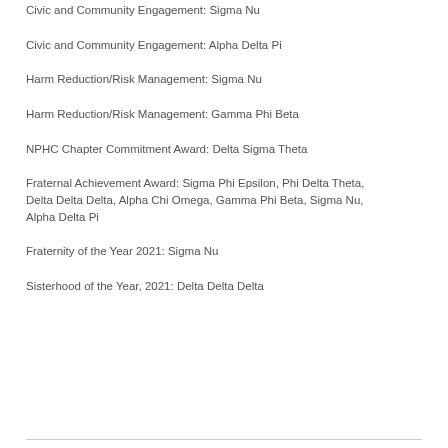Civic and Community Engagement: Alpha Delta Pi
Harm Reduction/Risk Management: Sigma Nu
Harm Reduction/Risk Management: Gamma Phi Beta
NPHC Chapter Commitment Award: Delta Sigma Theta
Fraternal Achievement Award: Sigma Phi Epsilon, Phi Delta Theta, Delta Delta Delta, Alpha Chi Omega, Gamma Phi Beta, Sigma Nu, Alpha Delta Pi
Fraternity of the Year 2021: Sigma Nu
Sisterhood of the Year, 2021: Delta Delta Delta